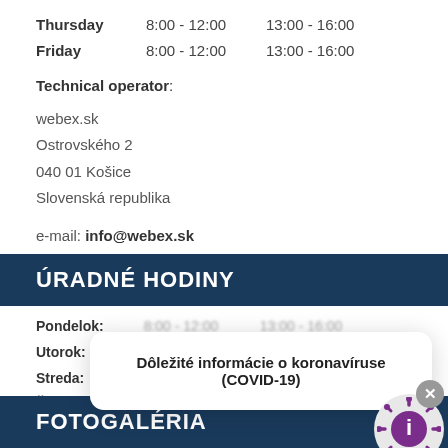Thursday  8:00 - 12:00  13:00 - 16:00
Friday    8:00 - 12:00  13:00 - 16:00
Technical operator:
webex.sk
Ostrovského 2
040 01 Košice
Slovenská republika
e-mail: info@webex.sk
ÚRADNÉ HODINY
Pondelok:  8:00 - 12:00  13:00 - 16:00
Utorok:
Streda:
Štvrtok:  8:00 - 12:00  13:00 - 16:00
Piatok:   8:00 - 12:00  13:00 - 16:00
Dôležité informácie o koronavíruse (COVID-19)
FOTOGALÉRIA